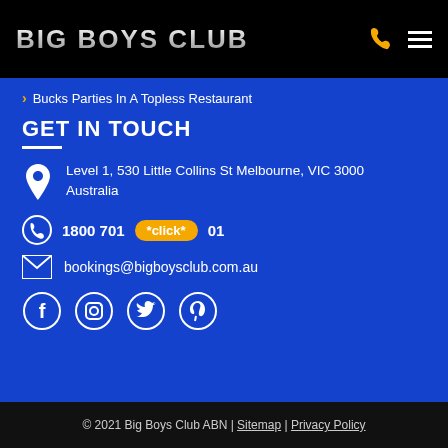BIG BOYS CLUB
Bucks Parties In A Topless Restaurant
GET IN TOUCH
Level 1, 530 Little Collins St Melbourne, VIC 3000 Australia
1800 701 *click* 01
bookings@bigboysclub.com.au
© 2021 Big Boys Club ABN | Sitemap | Privacy Policy